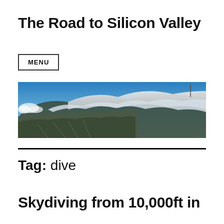The Road to Silicon Valley
MENU
[Figure (photo): Panoramic aerial view of a city (San Francisco) with hills, low-lying clouds and fog, and a tall antenna/tower visible on the right side, blue sky above.]
Tag: dive
Skydiving from 10,000ft in